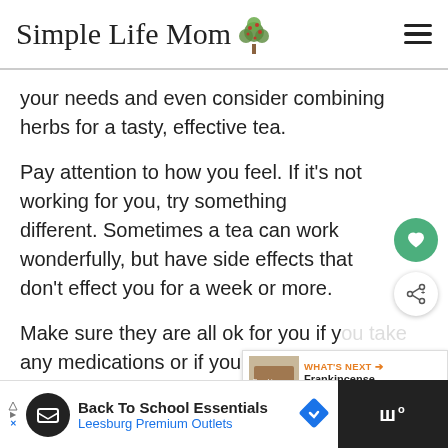Simple Life Mom
your needs and even consider combining herbs for a tasty, effective tea.
Pay attention to how you feel. If it's not working for you, try something different. Sometimes a tea can work wonderfully, but have side effects that don't effect you for a week or more.
Make sure they are all ok for you if you take any medications or if you are pregnant.
WHAT'S NEXT → Frankincense Extract Oil f...
Back To School Essentials Leesburg Premium Outlets